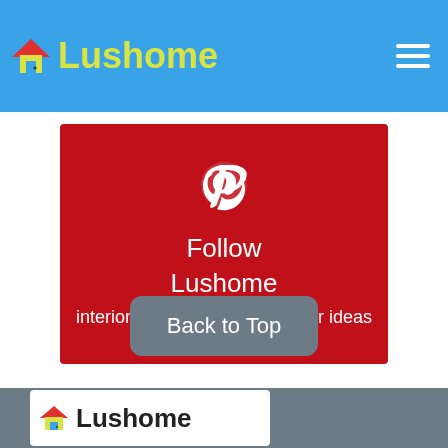Lushome
[Figure (logo): Pinterest follow banner with Pinterest logo, text: Follow Lushome interior design and home decor ideas, red background]
Back to Top
Lushome